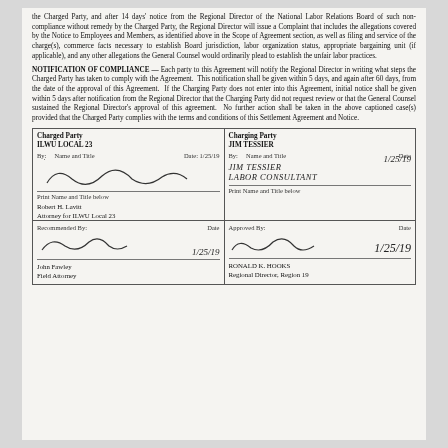the Charged Party, and after 14 days' notice from the Regional Director of the National Labor Relations Board of such non-compliance without remedy by the Charged Party, the Regional Director will issue a Complaint that includes the allegations covered by the Notice to Employees and Members, as identified above in the Scope of Agreement section, as well as filing and service of the charge(s), commerce facts necessary to establish Board jurisdiction, labor organization status, appropriate bargaining unit (if applicable), and any other allegations the General Counsel would ordinarily plead to establish the unfair labor practices.
NOTIFICATION OF COMPLIANCE — Each party to this Agreement will notify the Regional Director in writing what steps the Charged Party has taken to comply with the Agreement. This notification shall be given within 5 days, and again after 60 days, from the date of the approval of this Agreement. If the Charging Party does not enter into this Agreement, initial notice shall be given within 5 days after notification from the Regional Director that the Charging Party did not request review or that the General Counsel sustained the Regional Director's approval of this agreement. No further action shall be taken in the above captioned case(s) provided that the Charged Party complies with the terms and conditions of this Settlement Agreement and Notice.
| Charged Party | Charging Party |
| --- | --- |
| ILWU LOCAL 23 | JIM TESSIER |
| By: Name and Title   Date: 1/25/19 | By:   Name and Title   Date |
| [signature] | JIM TESSIER
LABOR CONSULTANT
[date: 1/25/19] |
| Print Name and Title below

Robert H. Lavitt
Attorney for ILWU Local 23 | Print Name and Title below |
| Recommended By:   Date
[signature] 1/25/19
John Fawley
Field Attorney | Approved By:   Date
[signature] 1/25/19
RONALD K. HOOKS
Regional Director, Region 19 |